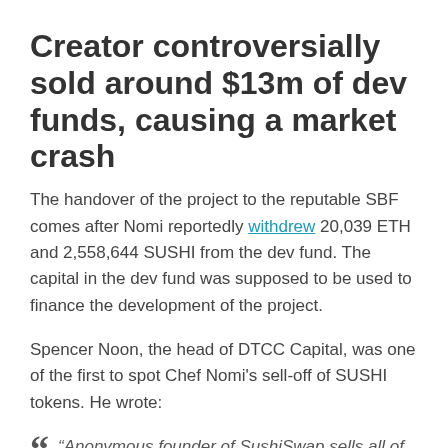Creator controversially sold around $13m of dev funds, causing a market crash
The handover of the project to the reputable SBF comes after Nomi reportedly withdrew 20,039 ETH and 2,558,644 SUSHI from the dev fund. The capital in the dev fund was supposed to be used to finance the development of the project.
Spencer Noon, the head of DTCC Capital, was one of the first to spot Chef Nomi's sell-off of SUSHI tokens. He wrote:
“Anonymous founder of SushiSwap sells all of his Sushi. WHO COULD HAVE POSSIBLY